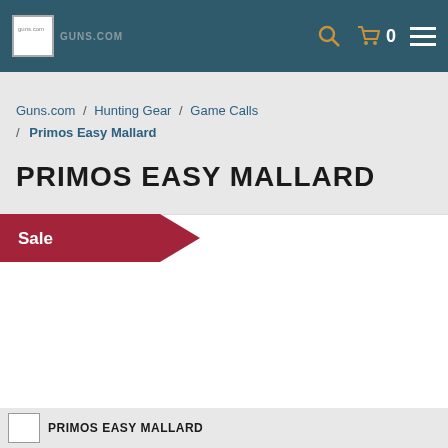Guns.com navigation bar with logo, search, cart (0), and menu icons
Guns.com / Hunting Gear / Game Calls / Primos Easy Mallard
PRIMOS EASY MALLARD
Sale
[Figure (photo): White product image area for Primos Easy Mallard]
PRIMOS EASY MALLARD